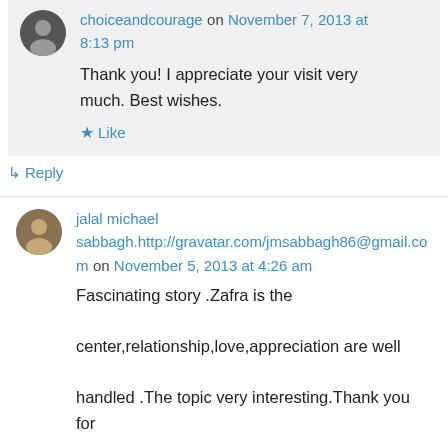choiceandcourage on November 7, 2013 at 8:13 pm
Thank you! I appreciate your visit very much. Best wishes.
★ Like
↳ Reply
jalal michael sabbagh.http://gravatar.com/jmsabbagh86@gmail.com on November 5, 2013 at 4:26 am
Fascinating story .Zafra is the center,relationship,love,appreciation are well handled .The topic very interesting.Thank you for stopping by .Warm regards jalal